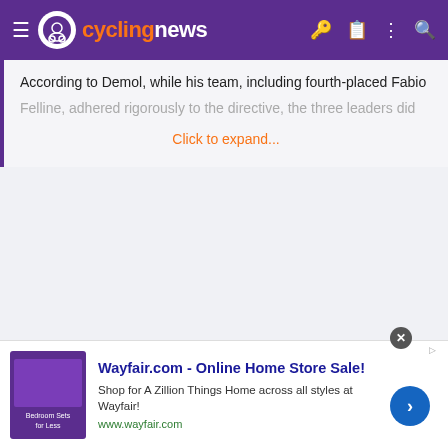cyclingnews
According to Demol, while his team, including fourth-placed Fabio Felline, adhered rigorously to the directive, the three leaders did
Click to expand...
[Figure (screenshot): Wayfair.com advertisement banner with purple bedroom image, title 'Wayfair.com - Online Home Store Sale!', description 'Shop for A Zillion Things Home across all styles at Wayfair!', URL www.wayfair.com, and blue arrow CTA button]